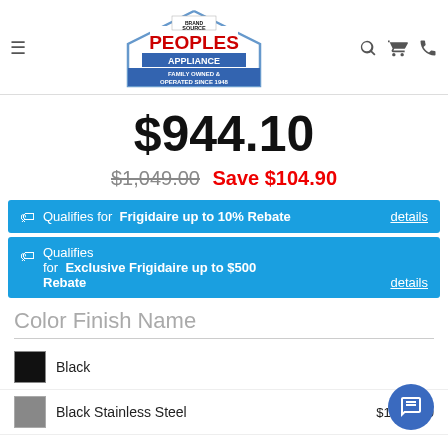[Figure (logo): BrandSource Peoples Appliance logo - house shape with red PEOPLES text and blue APPLIANCE banner, 'Family Owned & Operated Since 1948']
$944.10
$1,049.00  Save $104.90
Qualifies for Frigidaire up to 10% Rebate details
Qualifies for Exclusive Frigidaire up to $500 Rebate details
Color Finish Name
Black
Black Stainless Steel  $1,034.10